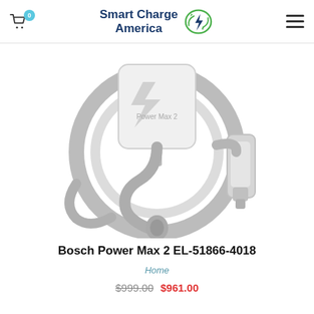Smart Charge America — Navigation header with cart (0) and menu
[Figure (photo): Bosch Power Max 2 EV charging station product photo showing the white wall-mount unit with coiled gray charging cable and connector plug, shown in grayscale/light gray tones on white background]
Bosch Power Max 2 EL-51866-4018
Home
$999.00  $961.00